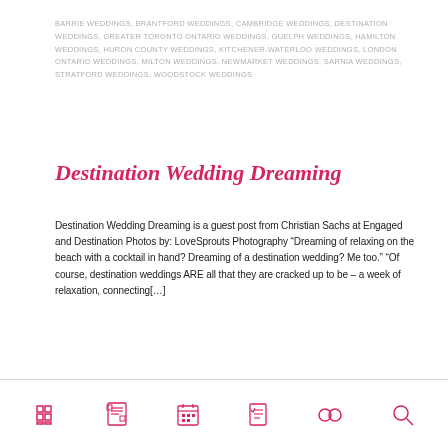BARRIE WEDDINGS, BRANTFORD WEDDINGS, CAMBRIDGE WEDDINGS, DESTINATION WEDDINGS, GREATER TORONTO ONTARIO WEDDINGS, GUELPH WEDDINGS, HAMILTON WEDDINGS, HURON COUNTY WEDDINGS, KITCHENER-WATERLOO WEDDINGS, LONDON ONTARIO WEDDINGS, MILTON WEDDINGS, NEWMARKET WEDDINGS, SARNIA WEDDINGS, STRATFORD WEDDINGS, WOODSTOCK WEDDINGS
Destination Wedding Dreaming
Destination Wedding Dreaming is a guest post from Christian Sachs at Engaged and Destination Photos by: LoveSprouts Photography “Dreaming of relaxing on the beach with a cocktail in hand? Dreaming of a destination wedding? Me too.” “Of course, destination weddings ARE all that they are cracked up to be – a week of relaxation, connecting[…]
engaged&destination,  lovesprouts photography
[Figure (infographic): Bottom navigation bar with 6 pink icons: grid/menu, newspaper/articles, calendar, checklist, infinity/rings, and search magnifier]